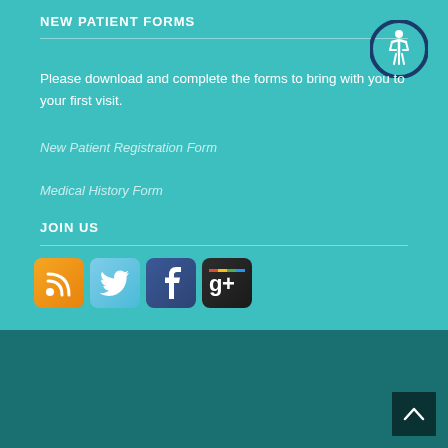NEW PATIENT FORMS
Please download and complete the forms to bring with you to your first visit.
New Patient Registration Form
Medical History Form
JOIN US
[Figure (infographic): Social media icons: RSS feed (orange), Twitter (blue bird), Facebook (blue f), Google+ (colorful g+)]
© Copyright 2017 Serenity Dental Group ™ - Developed by Riveting Media ®